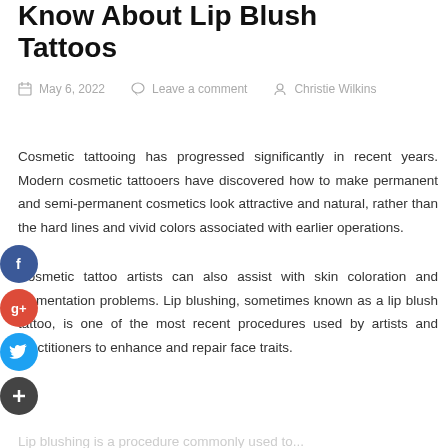Know About Lip Blush Tattoos
May 6, 2022   Leave a comment   Christie Wilkins
Cosmetic tattooing has progressed significantly in recent years. Modern cosmetic tattooers have discovered how to make permanent and semi-permanent cosmetics look attractive and natural, rather than the hard lines and vivid colors associated with earlier operations.
Cosmetic tattoo artists can also assist with skin coloration and pigmentation problems. Lip blushing, sometimes known as a lip blush tattoo, is one of the most recent procedures used by artists and practitioners to enhance and repair face traits.
...